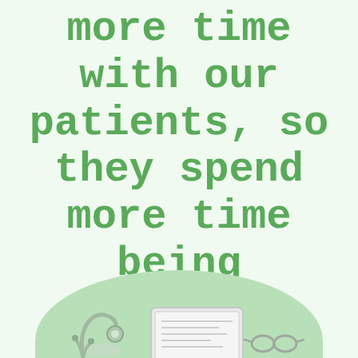more time with our patients, so they spend more time being healthy
[Figure (illustration): Medical items illustration including a stethoscope, laptop/calculator, and glasses on a light green oval background at the bottom of the page]